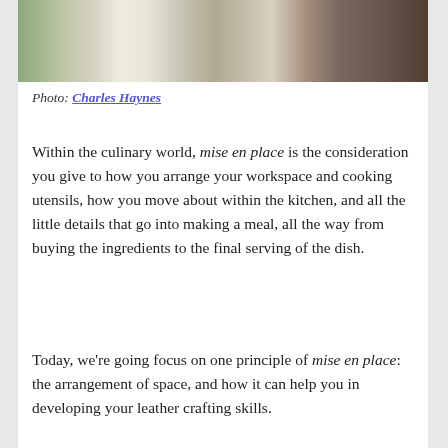[Figure (photo): Photograph of condiment bottles and food prep containers on a kitchen counter, shot from above]
Photo: Charles Haynes
Within the culinary world, mise en place is the consideration you give to how you arrange your workspace and cooking utensils, how you move about within the kitchen, and all the little details that go into making a meal, all the way from buying the ingredients to the final serving of the dish.
Today, we're going focus on one principle of mise en place: the arrangement of space, and how it can help you in developing your leather crafting skills.